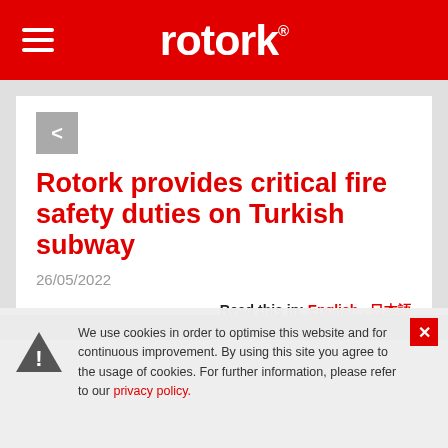rotork®
Rotork provides critical fire safety duties on Turkish subway
26/05/2022
Read this in: English , 日本語
We use cookies in order to optimise this website and for continuous improvement. By using this site you agree to the usage of cookies. For further information, please refer to our privacy policy.